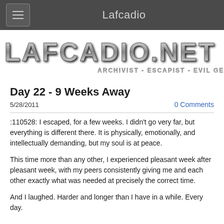Lafcadio
[Figure (logo): LAFCADIO.NET logo with metallic chrome text and tagline ARCHIVIST - ESCAPIST - EVIL GENIUS]
Day 22 - 9 Weeks Away
5/28/2011
0 Comments
:110528: I escaped, for a few weeks. I didn't go very far, but everything is different there. It is physically, emotionally, and intellectually demanding, but my soul is at peace.
This time more than any other, I experienced pleasant week after pleasant week, with my peers consistently giving me and each other exactly what was needed at precisely the correct time.
And I laughed. Harder and longer than I have in a while. Every day.